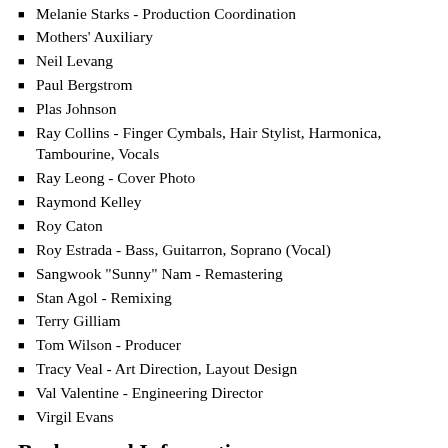Melanie Starks - Production Coordination
Mothers' Auxiliary
Neil Levang
Paul Bergstrom
Plas Johnson
Ray Collins - Finger Cymbals, Hair Stylist, Harmonica, Tambourine, Vocals
Ray Leong - Cover Photo
Raymond Kelley
Roy Caton
Roy Estrada - Bass, Guitarron, Soprano (Vocal)
Sangwook "Sunny" Nam - Remastering
Stan Agol - Remixing
Terry Gilliam
Tom Wilson - Producer
Tracy Veal - Art Direction, Layout Design
Val Valentine - Engineering Director
Virgil Evans
Background Information
Conceptual Continuity